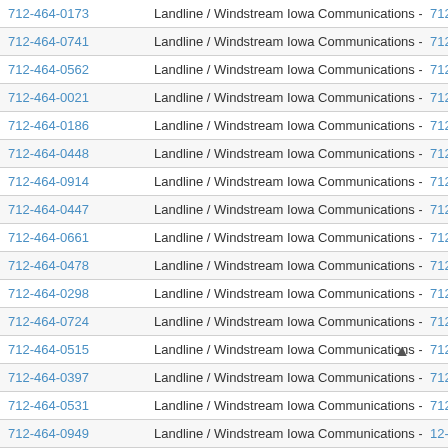| Phone | Type |  |
| --- | --- | --- |
| 712-464-0173 | Landline / Windstream Iowa Communications - North | 712- |
| 712-464-0741 | Landline / Windstream Iowa Communications - North | 712- |
| 712-464-0562 | Landline / Windstream Iowa Communications - North | 712- |
| 712-464-0021 | Landline / Windstream Iowa Communications - North | 712- |
| 712-464-0186 | Landline / Windstream Iowa Communications - North | 712- |
| 712-464-0448 | Landline / Windstream Iowa Communications - North | 712- |
| 712-464-0914 | Landline / Windstream Iowa Communications - North | 712- |
| 712-464-0447 | Landline / Windstream Iowa Communications - North | 712- |
| 712-464-0661 | Landline / Windstream Iowa Communications - North | 712- |
| 712-464-0478 | Landline / Windstream Iowa Communications - North | 712- |
| 712-464-0298 | Landline / Windstream Iowa Communications - North | 712- |
| 712-464-0724 | Landline / Windstream Iowa Communications - North | 712- |
| 712-464-0515 | Landline / Windstream Iowa Communications - North | 712- |
| 712-464-0397 | Landline / Windstream Iowa Communications - North | 712- |
| 712-464-0531 | Landline / Windstream Iowa Communications - North | 712- |
| 712-464-0949 | Landline / Windstream Iowa Communications - North | 12- |
| 712-464-0342 | Landline / Windstream Iowa Communications - North | 712- |
| 712-464-0809 | Landline / Windstream Iowa Communications - North | 712- |